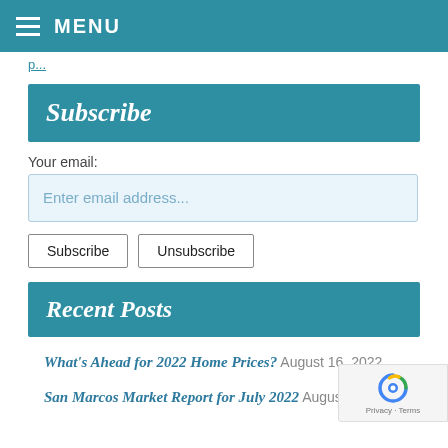☰ MENU
p...
Subscribe
Your email:
Enter email address...
Subscribe   Unsubscribe
Recent Posts
What's Ahead for 2022 Home Prices? August 16, 2022
San Marcos Market Report for July 2022 August 1...